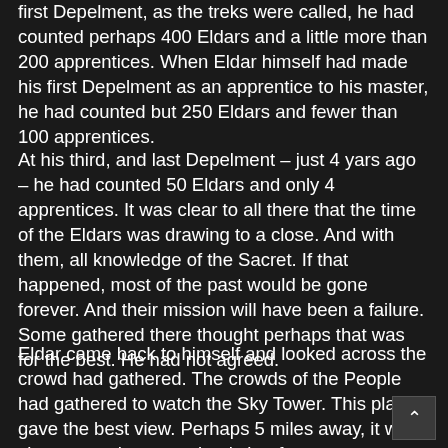first Depelment, as the treks were called, he had counted perhaps 400 Eldars and a little more than 200 apprentices. When Eldar himself had made his first Depelment as an apprentice to his master, he had counted but 250 Eldars and fewer than 100 apprentices.
At his third, and last Depelment – just 4 yars ago – he had counted 50 Eldars and only 4 apprentices. It was clear to all there that the time of the Eldars was drawing to a close. And with them, all knowledge of the Sacret. If that happened, most of the past would be gone forever. And their mission will have been a failure. Some gathered there thought perhaps that was for the best. He had not agreed.
Eldar came back to himself and looked across the crowd had gathered. The crowds of the People had gathered to watch the Sky Tower. This place gave the best view. Perhaps 5 miles away, it was close enough to see clearly but far